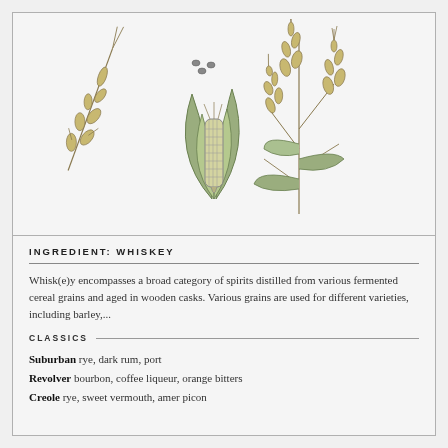[Figure (illustration): Botanical illustration of grains used in whiskey: wheat ear on left, corn/maize in center with green husks, rye plant on the right, and small grain seeds scattered, all in a light pen-and-ink style with subtle green and tan coloring]
INGREDIENT: WHISKEY
Whisk(e)y encompasses a broad category of spirits distilled from various fermented cereal grains and aged in wooden casks. Various grains are used for different varieties, including barley,...
CLASSICS
Suburban rye, dark rum, port
Revolver bourbon, coffee liqueur, orange bitters
Creole rye, sweet vermouth, amer picon